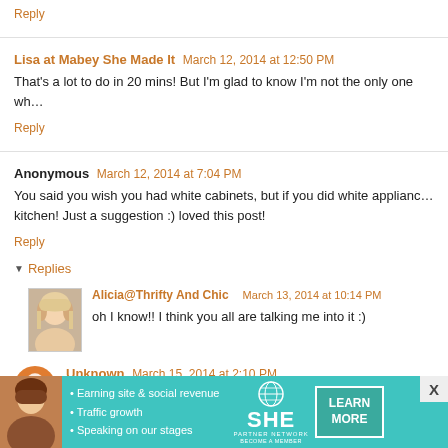Reply
Lisa at Mabey She Made It   March 12, 2014 at 12:50 PM
That's a lot to do in 20 mins! But I'm glad to know I'm not the only one wh…
Reply
Anonymous   March 12, 2014 at 7:04 PM
You said you wish you had white cabinets, but if you did white applianc… kitchen! Just a suggestion :) loved this post!
Reply
▼ Replies
Alicia@Thrifty And Chic   March 13, 2014 at 10:14 PM
oh I know!! I think you all are talking me into it :)
Unknown   March 15, 2014 at 2:10 PM
[Figure (infographic): SHE Media Partner Network advertisement banner in teal/turquoise color. Shows a woman on the left, bullet points: Earning site & social revenue, Traffic growth, Speaking on our stages. SHE logo with PARTNER NETWORK and BECOME A MEMBER text. LEARN MORE button. X close button.]